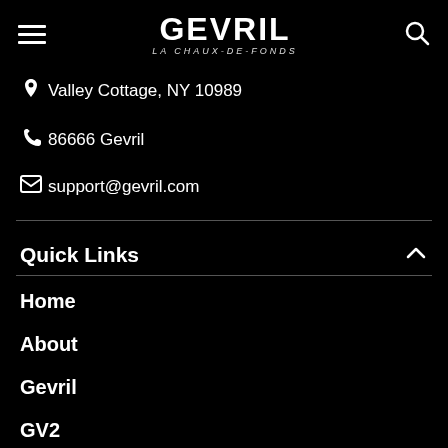GEVRIL LA CHAUX-DE-FONDS
Valley Cottage, NY 10989
86666 Gevril
support@gevril.com
Quick Links
Home
About
Gevril
GV2